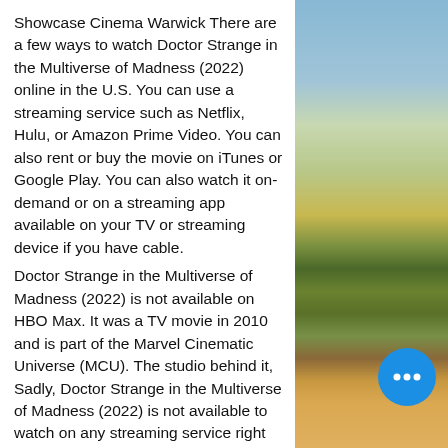Showcase Cinema Warwick There are a few ways to watch Doctor Strange in the Multiverse of Madness (2022) online in the U.S. You can use a streaming service such as Netflix, Hulu, or Amazon Prime Video. You can also rent or buy the movie on iTunes or Google Play. You can also watch it on-demand or on a streaming app available on your TV or streaming device if you have cable.
Doctor Strange in the Multiverse of Madness (2022) is not available on HBO Max. It was a TV movie in 2010 and is part of the Marvel Cinematic Universe (MCU). The studio behind it, Sadly, Doctor Strange in the Multiverse of Madness (2022) is not available to watch on any streaming service right now. However, fans needn't fear, plan is for No Way Home to follow in the footsteps of other Sony movies and land on
[Figure (photo): Outdoor landscape photo showing a countryside scene with blue sky, trees, and golden fields.]